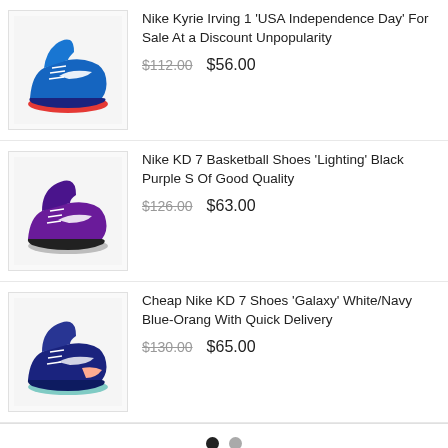[Figure (photo): Nike Kyrie Irving 1 USA Independence Day basketball shoe - blue with red sole]
Nike Kyrie Irving 1 'USA Independence Day' For Sale At a Discount Unpopularity
$112.00  $56.00
[Figure (photo): Nike KD 7 Basketball Shoes Lighting Black Purple basketball shoe]
Nike KD 7 Basketball Shoes 'Lighting' Black Purple S Of Good Quality
$126.00  $63.00
[Figure (photo): Cheap Nike KD 7 Shoes Galaxy White/Navy Blue-Orange basketball shoe]
Cheap Nike KD 7 Shoes 'Galaxy' White/Navy Blue-Orang With Quick Delivery
$130.00  $65.00
Description
You may also be interested in the following product(s) - Air Jordan 13 Retro GIrls '3M' Reflective Silver At The Best Price